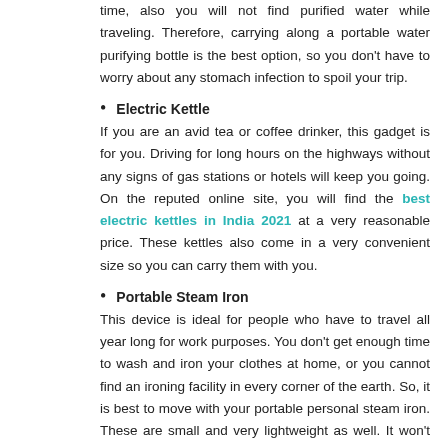time, also you will not find purified water while traveling. Therefore, carrying along a portable water purifying bottle is the best option, so you don't have to worry about any stomach infection to spoil your trip.
Electric Kettle
If you are an avid tea or coffee drinker, this gadget is for you. Driving for long hours on the highways without any signs of gas stations or hotels will keep you going. On the reputed online site, you will find the best electric kettles in India 2021 at a very reasonable price. These kettles also come in a very convenient size so you can carry them with you.
Portable Steam Iron
This device is ideal for people who have to travel all year long for work purposes. You don't get enough time to wash and iron your clothes at home, or you cannot find an ironing facility in every corner of the earth. So, it is best to move with your portable personal steam iron. These are small and very lightweight as well. It won't make much difference to the size and weight of